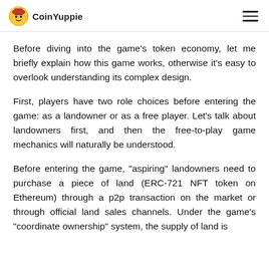CoinYuppie
Before diving into the game’s token economy, let me briefly explain how this game works, otherwise it's easy to overlook understanding its complex design.
First, players have two role choices before entering the game: as a landowner or as a free player. Let’s talk about landowners first, and then the free-to-play game mechanics will naturally be understood.
Before entering the game, “aspiring” landowners need to purchase a piece of land (ERC-721 NFT token on Ethereum) through a p2p transaction on the market or through official land sales channels. Under the game’s “coordinate ownership” system, the supply of land is